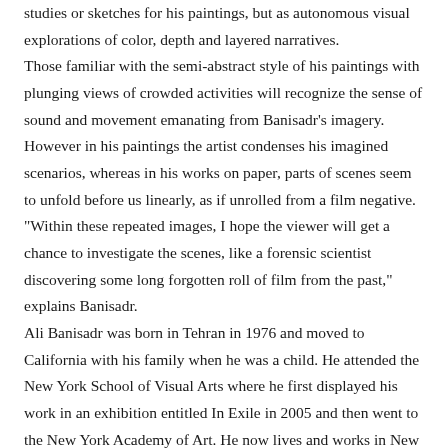studies or sketches for his paintings, but as autonomous visual explorations of color, depth and layered narratives. Those familiar with the semi-abstract style of his paintings with plunging views of crowded activities will recognize the sense of sound and movement emanating from Banisadr's imagery. However in his paintings the artist condenses his imagined scenarios, whereas in his works on paper, parts of scenes seem to unfold before us linearly, as if unrolled from a film negative. "Within these repeated images, I hope the viewer will get a chance to investigate the scenes, like a forensic scientist discovering some long forgotten roll of film from the past," explains Banisadr. Ali Banisadr was born in Tehran in 1976 and moved to California with his family when he was a child. He attended the New York School of Visual Arts where he first displayed his work in an exhibition entitled In Exile in 2005 and then went to the New York Academy of Art. He now lives and works in New York. Recent group exhibitions include Raad o Bargh: 17 Iranian Artists at Galerie Thaddaeus Ropac in Paris (2009), Unveiled: New Art from the Middle East at the Saatchi Gallery